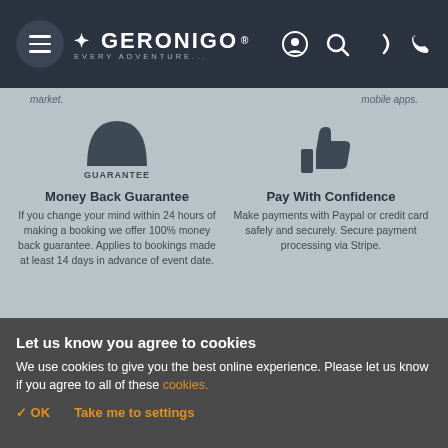Geronigo - Every Adventure. Navigation bar with hamburger menu, logo, and icons.
market.
mobile apps.
[Figure (illustration): Guarantee badge icon - semicircle stamp with GUARANTEE text below it]
Money Back Guarantee
If you change your mind within 24 hours of making a booking we offer 100% money back guarantee. Applies to bookings made at least 14 days in advance of event date.
[Figure (illustration): Thumbs up icon]
Pay With Confidence
Make payments with Paypal or credit card safely and securely. Secure payment processing via Stripe.
Let us know you agree to cookies
We use cookies to give you the best online experience. Please let us know if you agree to all of these cookies.
✓ OK   Take me to settings